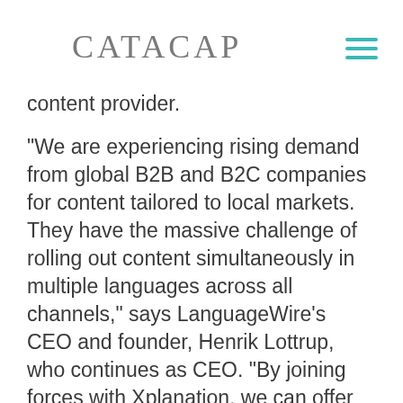CATACAP
content provider.
“We are experiencing rising demand from global B2B and B2C companies for content tailored to local markets. They have the massive challenge of rolling out content simultaneously in multiple languages across all channels,” says LanguageWire’s CEO and founder, Henrik Lottrup, who continues as CEO. “By joining forces with Xplanation, we can offer an even broader palette of innovative and user-friendly solutions,